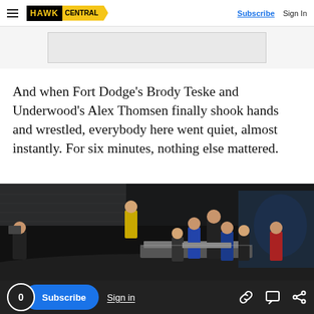HAWK CENTRAL | Subscribe | Sign In
And when Fort Dodge’s Brody Teske and Underwood’s Alex Thomsen finally shook hands and wrestled, everybody here went quiet, almost instantly. For six minutes, nothing else mattered.
[Figure (photo): Group of young wrestlers and officials standing on a mat inside an arena, with stadium seating visible in the background. One person in a yellow jacket stands elevated behind the group.]
0 Subscribe Sign in